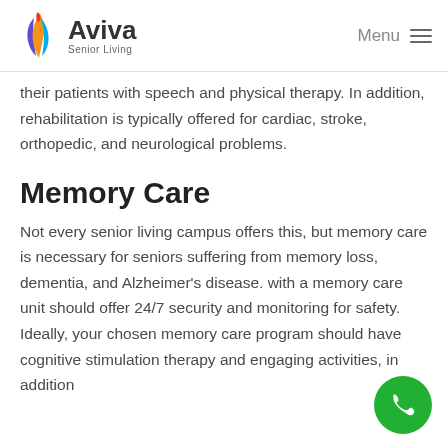Aviva Senior Living — Menu
their patients with speech and physical therapy. In addition, rehabilitation is typically offered for cardiac, stroke, orthopedic, and neurological problems.
Memory Care
Not every senior living campus offers this, but memory care is necessary for seniors suffering from memory loss, dementia, and Alzheimer's disease. with a memory care unit should offer 24/7 security and monitoring for safety. Ideally, your chosen memory care program should have cognitive stimulation therapy and engaging activities, in addition